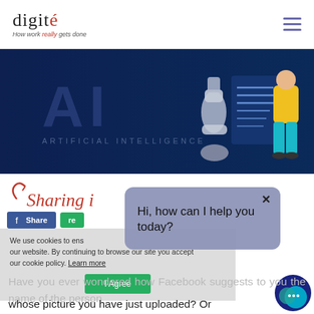digité — How work really gets done
[Figure (illustration): Dark blue banner showing 'AI ARTIFICIAL INTELLIGENCE' text with a robot arm and a person in yellow top and teal pants interacting with a digital display]
Sharing i...
[Figure (screenshot): Facebook Share button (blue) and a green share button partially visible]
We use cookies to ensure... our website. By continuing to browse our site you accept our cookie policy. Learn more
[Figure (screenshot): Chat popup saying 'Hi, how can I help you today?' with a close X button, overlaid on the page]
I Agree button (green)
Have you ever wondered how Facebook suggests to you the name of the person whose picture you have just uploaded? Or